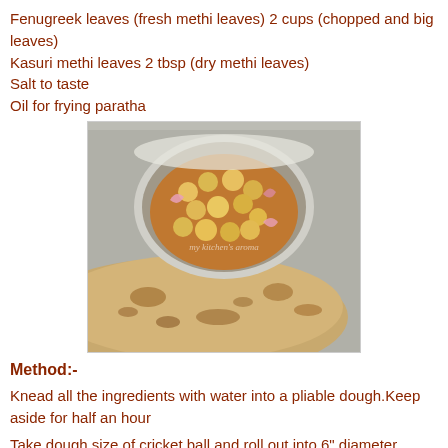Fenugreek leaves (fresh methi leaves) 2 cups (chopped and big leaves)
Kasuri methi leaves 2 tbsp (dry methi leaves)
Salt to taste
Oil for frying paratha
[Figure (photo): A bowl of chickpea curry with onions served in a steel bowl on a tray, alongside flaky methi paratha flatbread in the foreground. Watermark reads 'my kitchen's aroma'.]
Method:-
Knead all the ingredients with water into a pliable dough.Keep aside for half an hour
Take dough size of cricket ball and roll out into 6" diameter